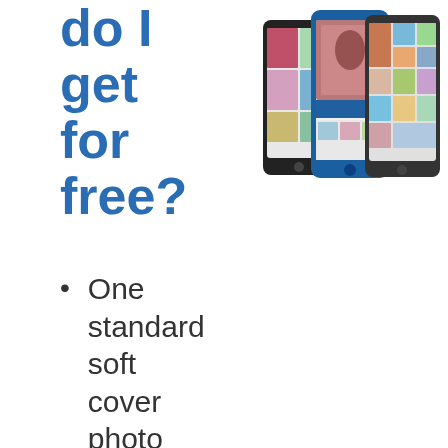do I get for free?
[Figure (photo): Three smartphones showing a photo book app with photo collages displayed on screens]
One standard soft cover photo book every month
20 pages